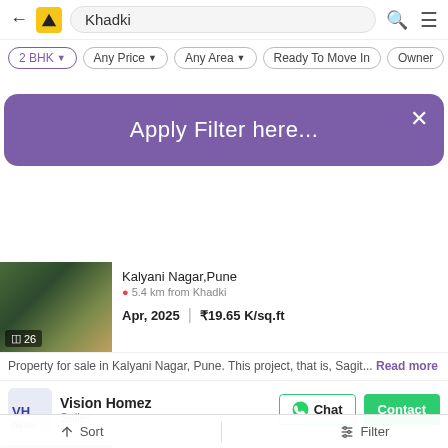← Khadki (search bar with logo)
2 BHK ▾
Any Price ▾
Any Area ▾
Ready To Move In
Owner
Apply Filter here...
Kalyani Nagar,Pune
5.4 km from Khadki
Apr, 2025  |  ₹19.65 K/sq.ft
Property for sale in Kalyani Nagar, Pune. This project, that is, Sagit... Read more
Vision Homez
Seller
Chat  Contact
₹60.0 L
2 BHK Flat for sale in Khadki
Mehta Tower, Khadki, Pune
Build Up Area: 1000 sq.ft  |  ₹6.00 K/sq.ft